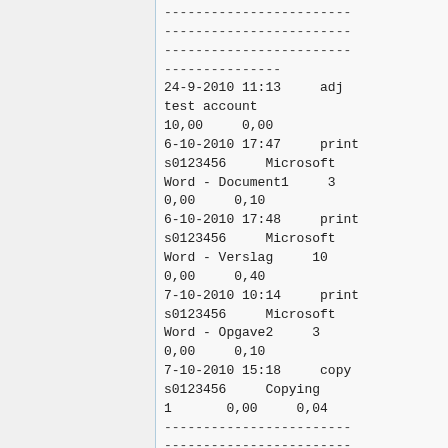------------------------
------------------------
------------------------
---------------
24-9-2010 11:13     adj
test account
10,00     0,00
6-10-2010 17:47     print
s0123456     Microsoft
Word - Document1     3
0,00     0,10
6-10-2010 17:48     print
s0123456     Microsoft
Word - Verslag     10
0,00     0,40
7-10-2010 10:14     print
s0123456     Microsoft
Word - Opgave2     3
0,00     0,10
7-10-2010 15:18     copy
s0123456     Copying
1       0,00     0,04
------------------------
------------------------
------------------------